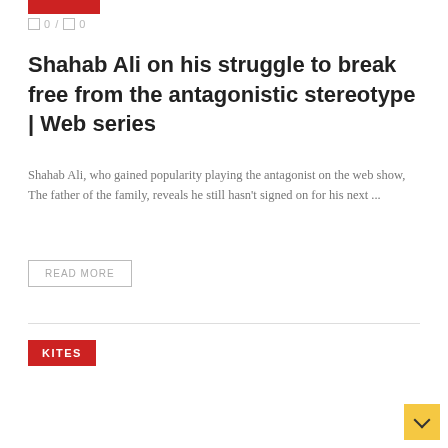[Figure (other): Red category tag bar]
0 / 0
Shahab Ali on his struggle to break free from the antagonistic stereotype | Web series
Shahab Ali, who gained popularity playing the antagonist on the web show, The father of the family, reveals he still hasn't signed on for his next ...
READ MORE
KITES
[Figure (other): Yellow scroll-to-top button with arrow icon]